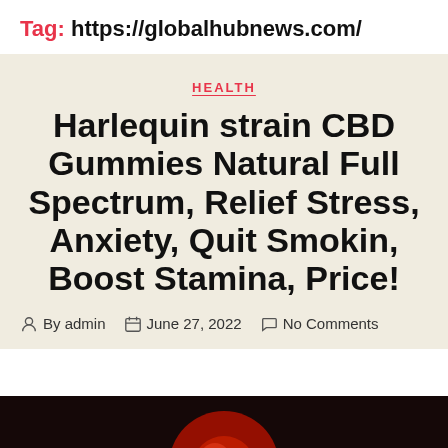Tag: https://globalhubnews.com/
HEALTH
Harlequin strain CBD Gummies Natural Full Spectrum, Relief Stress, Anxiety, Quit Smokin, Boost Stamina, Price!
By admin   June 27, 2022   No Comments
[Figure (photo): Dark image strip at bottom of page showing a red object, partially visible]